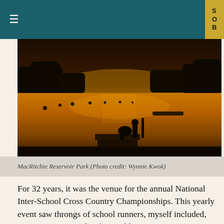SOB
[Figure (photo): Sunset over MacRitchie Reservoir Park. Silhouettes of two people sitting on a dock in the foreground, calm water reflecting golden-orange light, trees silhouetted on the horizon.]
MacRitchie Reservoir Park (Photo credit: Wynnie Kwok)
For 32 years, it was the venue for the annual National Inter-School Cross Country Championships. This yearly event saw throngs of school runners, myself included, coming to MacRitchie for weekly training sessions to master the trails. During Cross Country meets, the entire reservoir would transform into an unimaginable “stadium” embedded in nature – temporary “holding rooms” would emerge around the more shaded parts of the park where school teams would gather; runners would do warm up